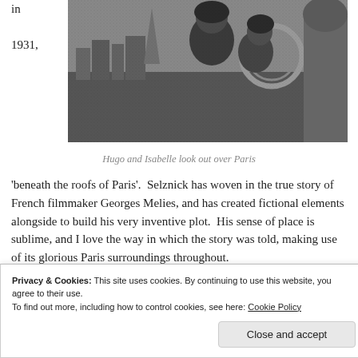in

1931,
[Figure (photo): Black and white illustration/photo of Hugo and Isabelle looking out over Paris, two children figures visible with city rooftops in background]
Hugo and Isabelle look out over Paris
'beneath the roofs of Paris'. Selznick has woven in the true story of French filmmaker Georges Melies, and has created fictional elements alongside to build his very inventive plot. His sense of place is sublime, and I love the way in which the story was told, making use of its glorious Paris surroundings throughout.
Privacy & Cookies: This site uses cookies. By continuing to use this website, you agree to their use.
To find out more, including how to control cookies, see here: Cookie Policy
Close and accept